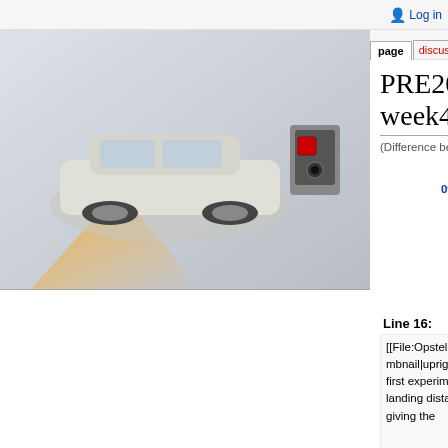Log in
PRE2015 3 Groep2 week4
(Difference between revisions)
Revision as of 09:48, 2 March 2016 (view source)
S147064 (Talk | contribs)
(→References)
← Older edit
Revision as of 09:50, 2 March 2016 (view source)
S122418 (Talk | contribs)
(→Experiment 1: Landing distance)
Newer edit →
Line 16:
Line 16:
[[File:Opstelling.jpg|thumbnail|upright=2.5|Figur e 1: Foto of the first experiment for determining the landing distance. Strips on the ground are giving the
[[File:Opstelling.jpg|thumbnail|upright=2.5|Figur e 1: Foto of the first experiment for determining the landing distance. Strips on the ground are giving the